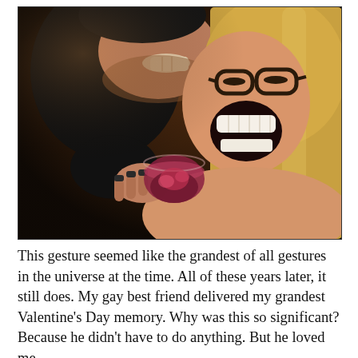[Figure (photo): A woman with blonde hair and dark-rimmed glasses laughing joyfully, and a man leaning in close to her. The woman is holding a dark red drink. The photo has warm, dim indoor lighting.]
This gesture seemed like the grandest of all gestures in the universe at the time. All of these years later, it still does. My gay best friend delivered my grandest Valentine's Day memory. Why was this so significant? Because he didn't have to do anything. But he loved me